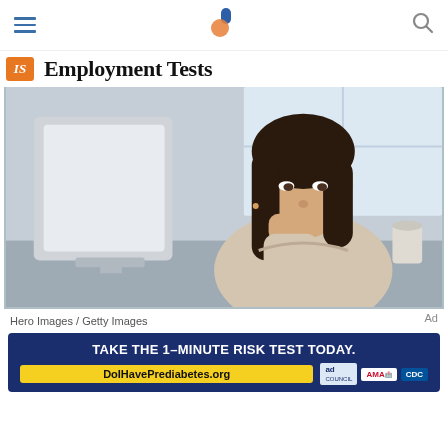Navigation header with hamburger menu, site logo, and search icon
Employment Tests
[Figure (photo): A young woman with dark hair resting her chin on her hand, sitting at a desk in front of a computer monitor with books and a coffee cup nearby, in an office setting.]
Hero Images / Getty Images
[Figure (infographic): Advertisement banner: TAKE THE 1-MINUTE RISK TEST TODAY. DolHavePrediabetes.org — ad, AMA, CDC logos]